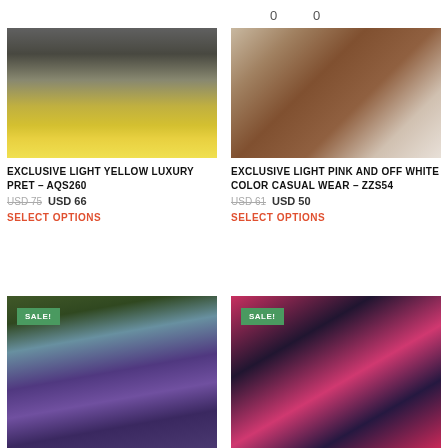0   0
[Figure (photo): Photo of yellow luxury pret outfit, lower body showing yellow fabric and sandals on stone pavement]
[Figure (photo): Photo of light pink and off white casual wear, lower body showing dupatta near wooden door]
EXCLUSIVE LIGHT YELLOW LUXURY PRET – AQS260
USD 75  USD 66
SELECT OPTIONS
EXCLUSIVE LIGHT PINK AND OFF WHITE COLOR CASUAL WEAR – ZZS54
USD 61  USD 50
SELECT OPTIONS
[Figure (photo): SALE! Photo of woman in purple dress outdoors in garden setting]
[Figure (photo): SALE! Photo of woman in pink and black patterned outfit indoors]